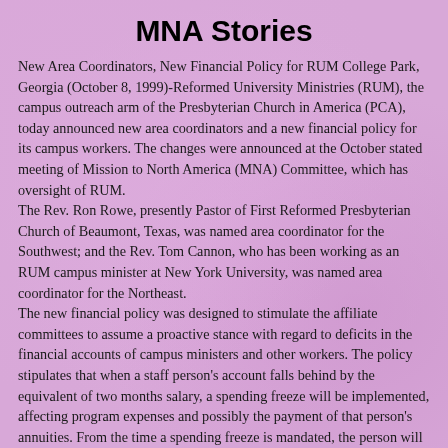MNA Stories
New Area Coordinators, New Financial Policy for RUM College Park, Georgia (October 8, 1999)-Reformed University Ministries (RUM), the campus outreach arm of the Presbyterian Church in America (PCA), today announced new area coordinators and a new financial policy for its campus workers. The changes were announced at the October stated meeting of Mission to North America (MNA) Committee, which has oversight of RUM. The Rev. Ron Rowe, presently Pastor of First Reformed Presbyterian Church of Beaumont, Texas, was named area coordinator for the Southwest; and the Rev. Tom Cannon, who has been working as an RUM campus minister at New York University, was named area coordinator for the Northeast. The new financial policy was designed to stimulate the affiliate committees to assume a proactive stance with regard to deficits in the financial accounts of campus ministers and other workers. The policy stipulates that when a staff person's account falls behind by the equivalent of two months salary, a spending freeze will be implemented, affecting program expenses and possibly the payment of that person's annuities. From the time a spending freeze is mandated, the person will have three months in which to erase the deficit. In the coming MNA news, he will have a sum of A...